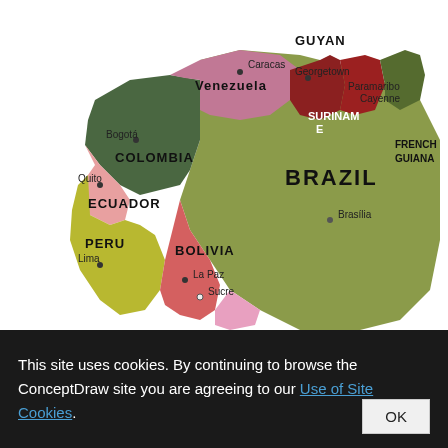[Figure (map): Political map of northern South America showing Colombia, Venezuela, Guyana, Suriname, French Guiana, Ecuador, Peru, Bolivia, and Brazil with capital cities marked]
This site uses cookies. By continuing to browse the ConceptDraw site you are agreeing to our Use of Site Cookies.